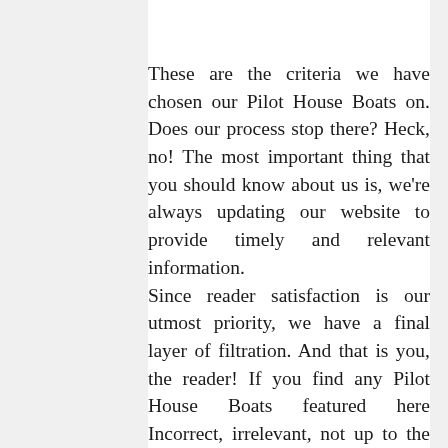These are the criteria we have chosen our Pilot House Boats on. Does our process stop there? Heck, no! The most important thing that you should know about us is, we're always updating our website to provide timely and relevant information. Since reader satisfaction is our utmost priority, we have a final layer of filtration. And that is you, the reader! If you find any Pilot House Boats featured here Incorrect, irrelevant, not up to the mark, or simply outdated,